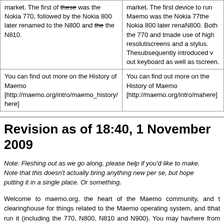| market. The first of these was the Nokia 770, followed by the Nokia 800 later renamed to the N800 and the the N810. | market. The first device to run Maemo was the Nokia 770, the Nokia 800 later renamed to N800. Both the 770 and the N800 made use of high resolution screens and a stylus. The N810 subsequently introduced with a pull out keyboard as well as the touch screen. |
| You can find out more on the History of Maemo [http://maemo.org/intro/maemo_history/ here] | You can find out more on the History of Maemo [http://maemo.org/intro/ma... here] |
Revision as of 18:40, 1 November 2009
Note: Fleshing out as we go along, please help if you'd like to make. Note that this doesn't actually bring anything new per se, but hopefully putting it in a single place. Or something.
Welcome to maemo.org, the heart of the Maemo community, and the clearinghouse for things related to the Maemo operating system, and the devices that run it (including the 770, N800, N810 and N900). You may have arrived here from the intro page, or from a web search, for from a link to the Users page someplace. Wherever you came from, here's hoping this can help satisfy your needs.